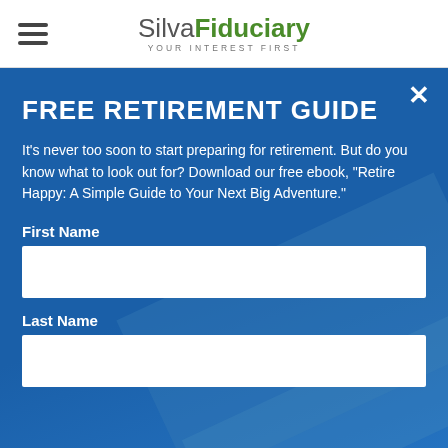[Figure (logo): Silva Fiduciary logo with hamburger menu icon. Logo reads 'SilvaFiduciary' with tagline 'YOUR INTEREST FIRST'. Silva in gray, Fiduciary in green.]
FREE RETIREMENT GUIDE
It's never too soon to start preparing for retirement. But do you know what to look out for? Download our free ebook, "Retire Happy: A Simple Guide to Your Next Big Adventure."
First Name
Last Name